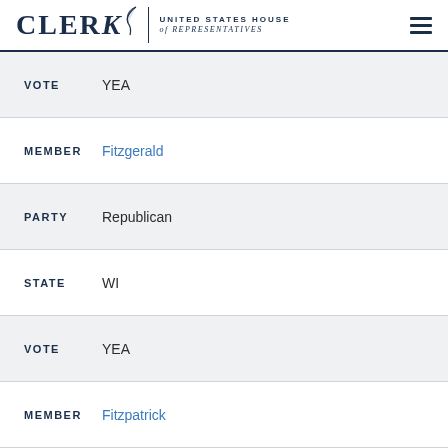CLERK | UNITED STATES HOUSE of REPRESENTATIVES
VOTE  YEA
MEMBER  Fitzgerald
PARTY  Republican
STATE  WI
VOTE  YEA
MEMBER  Fitzpatrick
PARTY  Republican